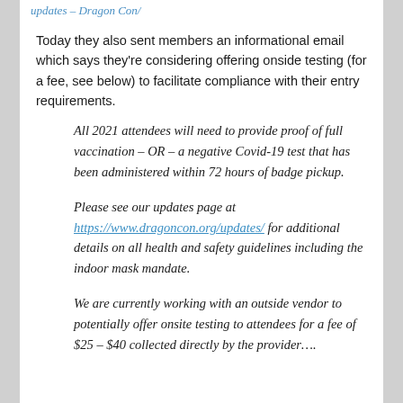updates – dragoncon/
Today they also sent members an informational email which says they're considering offering onside testing (for a fee, see below) to facilitate compliance with their entry requirements.
All 2021 attendees will need to provide proof of full vaccination – OR – a negative Covid-19 test that has been administered within 72 hours of badge pickup.
Please see our updates page at https://www.dragoncon.org/updates/ for additional details on all health and safety guidelines including the indoor mask mandate.
We are currently working with an outside vendor to potentially offer onsite testing to attendees for a fee of $25 – $40 collected directly by the provider….